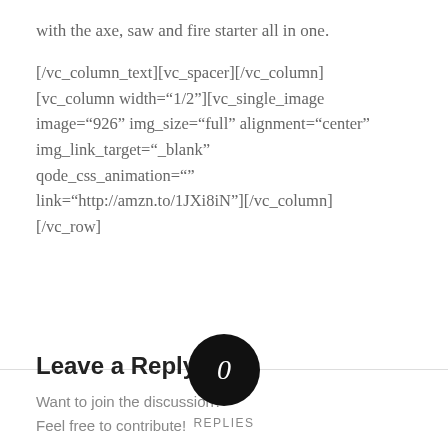with the axe, saw and fire starter all in one.
[/vc_column_text][vc_spacer][/vc_column] [vc_column width="1/2"][vc_single_image image="926" img_size="full" alignment="center" onclick="custom_link" img_link_target="_blank" qode_css_animation="" link="http://amzn.to/1JXi8iN"][/vc_column] [/vc_row]
[Figure (infographic): Black circle badge with number 0 in white, labeled REPLIES below, with a horizontal divider line behind it]
Leave a Reply
Want to join the discussion?
Feel free to contribute!